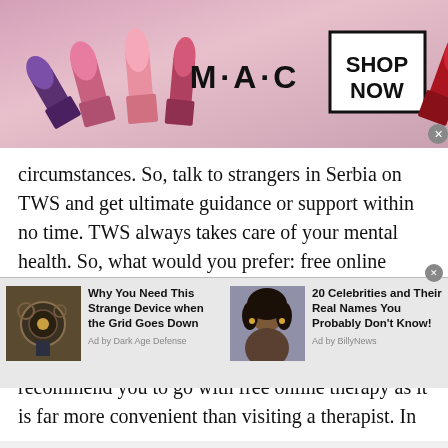[Figure (photo): MAC Cosmetics advertisement banner showing multiple lipsticks (purple, pink, red) with MAC logo and SHOP NOW button]
circumstances. So, talk to strangers in Serbia on TWS and get ultimate guidance or support within no time. TWS always takes care of your mental health. So, what would you prefer: free online therapy or paid therapist?

Well, TWS free chat random rooms are always the wise choice to get real-life solutions. We recommend you to go with free online therapy as it is far more convenient than visiting a therapist. In
[Figure (photo): Two advertisement widgets at bottom: left shows a steampunk device with text 'Why You Need This Strange Device when the Grid Goes Down' by Dark Age Defense; right shows a celebrity portrait with text '20 Celebrities and Their Real Names You Probably Don't Know!' by BillyNews]